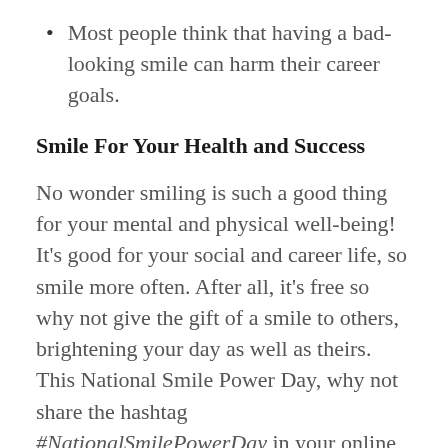Most people think that having a bad-looking smile can harm their career goals.
Smile For Your Health and Success
No wonder smiling is such a good thing for your mental and physical well-being! It's good for your social and career life, so smile more often. After all, it's free so why not give the gift of a smile to others, brightening your day as well as theirs. This National Smile Power Day, why not share the hashtag #NationalSmilePowerDay in your online communications and tell a good joke or two. If you're just not feeling the smile bug, try writing down some of the